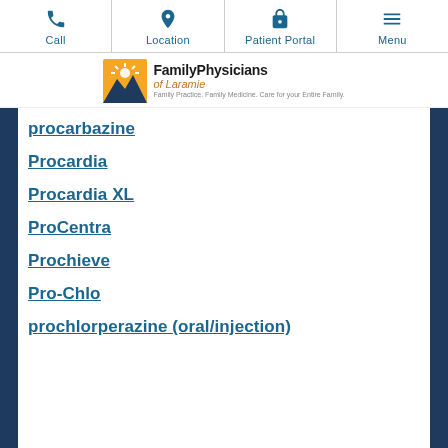Call | Location | Patient Portal | Menu
[Figure (logo): Family Physicians of Laramie logo with sunburst graphic and tagline: Family Practice. Family Medicine. Care for your Entire Family.]
procarbazine
Procardia
Procardia XL
ProCentra
Prochieve
Pro-Chlo
prochlorperazine (oral/injection)